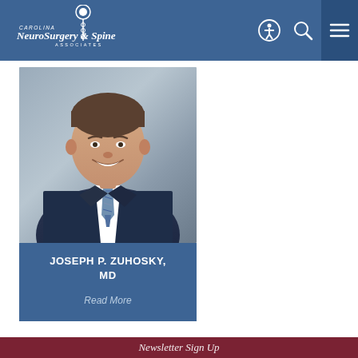[Figure (logo): Carolina NeuroSurgery & Spine Associates logo – white text and brain/spine icon on blue header]
[Figure (photo): Professional headshot of Joseph P. Zuhosky, MD — a man in a dark navy suit with a plaid blue and grey tie, smiling, against a grey background]
JOSEPH P. ZUHOSKY, MD
Read More
Newsletter Sign Up